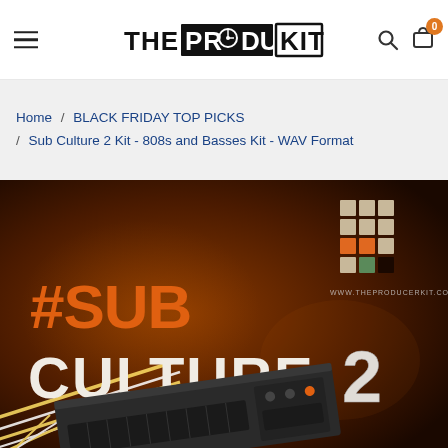THE PRODUCER KIT — navigation header with hamburger menu, logo, search and cart icons
Home / BLACK FRIDAY TOP PICKS / Sub Culture 2 Kit - 808s and Basses Kit - WAV Format
[Figure (photo): Product artwork for #SUB CULTURE 2 kit — dark orange/brown background with large orange and white text '#SUB CULTURE 2', a grid of colored squares top-right, diagonal yellow/white stripes, and a synthesizer device in the lower portion. URL www.theproducerkit.com shown.]